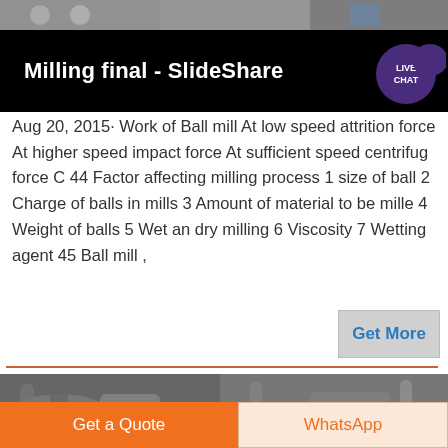[Figure (photo): Top strip showing industrial machinery / people in hardhats]
Milling final - SlideShare
[Figure (infographic): Live Chat badge - purple circle with LIVE CHAT text and speech bubble]
Aug 20, 2015· Work of Ball mill At low speed attrition force At higher speed impact force At sufficient speed centrifug force C 44 Factor affecting milling process 1 size of ball 2 Charge of balls in mills 3 Amount of material to be mille 4 Weight of balls 5 Wet an dry milling 6 Viscosity 7 Wetting agent 45 Ball mill ,
[Figure (photo): Industrial machinery / pipes and ducts in grayscale]
Get a Quote
WhatsApp